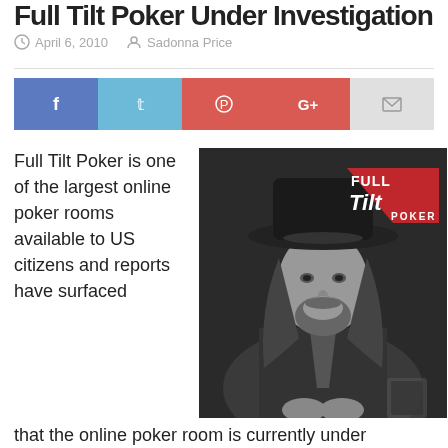Full Tilt Poker Under Investigation
April 6, 2010   Sadonna Price
[Figure (illustration): Social sharing buttons: Facebook (blue), Twitter (light blue), Pinterest (red), Google+ (red), Email (light gray)]
Full Tilt Poker is one of the largest online poker rooms available to US citizens and reports have surfaced
[Figure (photo): Black and white photo of a man with long hair wearing a cowboy hat and suit, with Full Tilt Poker logo in top right corner]
that the online poker room is currently under